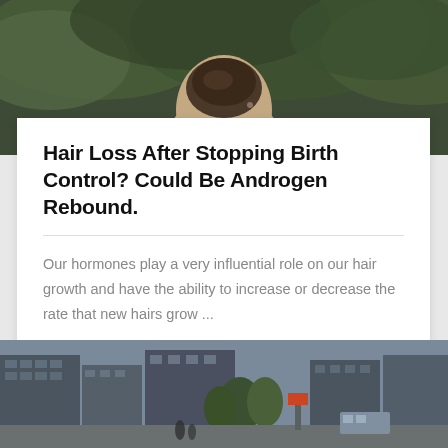[Figure (photo): Back of a person's head/neck with hair up, outdoors with green foliage in background]
Hair Loss After Stopping Birth Control? Could Be Androgen Rebound.
Our hormones play a very influential role on our hair growth and have the ability to increase or decrease the rate that new hairs grow ...
[Figure (photo): Street scene with buildings, trees, and urban environment]